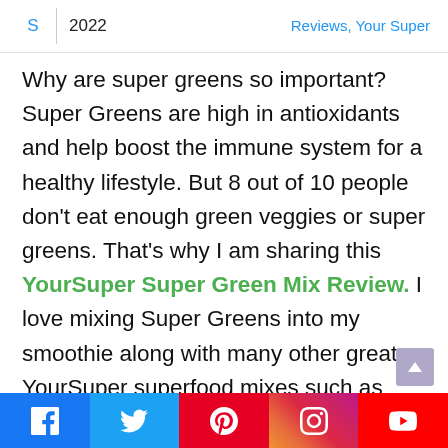S | 2022 | Reviews, Your Super
Why are super greens so important? Super Greens are high in antioxidants and help boost the immune system for a healthy lifestyle. But 8 out of 10 people don't eat enough green veggies or super greens. That's why I am sharing this YourSuper Super Green Mix Review. I love mixing Super Greens into my smoothie along with many other great YourSuper superfood mixes such as Skinny Protein, Plant Collag…